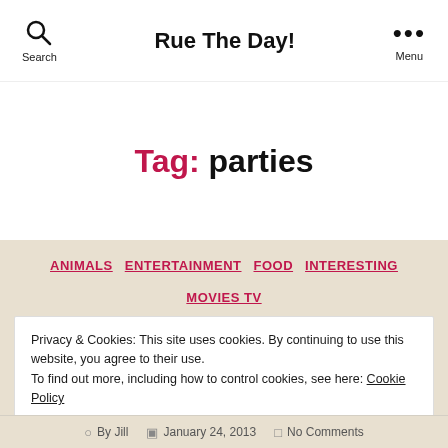Search | Rue The Day! | Menu
Tag: parties
ANIMALS
ENTERTAINMENT
FOOD
INTERESTING
MOVIES TV
Privacy & Cookies: This site uses cookies. By continuing to use this website, you agree to their use. To find out more, including how to control cookies, see here: Cookie Policy
CLOSE AND ACCEPT
By Jill | January 24, 2013 | No Comments